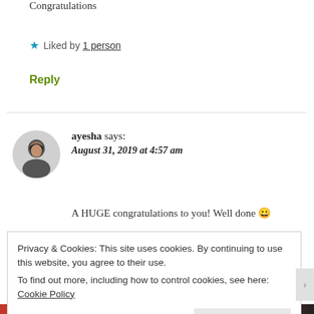Congratulations
★ Liked by 1 person
Reply
ayesha says:
August 31, 2019 at 4:57 am
A HUGE congratulations to you! Well done 😀
Privacy & Cookies: This site uses cookies. By continuing to use this website, you agree to their use.
To find out more, including how to control cookies, see here: Cookie Policy
Close and accept